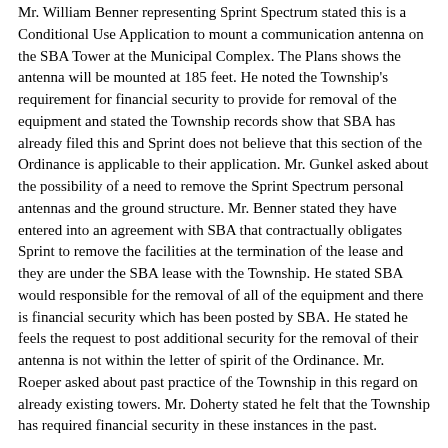Mr. William Benner representing Sprint Spectrum stated this is a Conditional Use Application to mount a communication antenna on the SBA Tower at the Municipal Complex. The Plans shows the antenna will be mounted at 185 feet. He noted the Township's requirement for financial security to provide for removal of the equipment and stated the Township records show that SBA has already filed this and Sprint does not believe that this section of the Ordinance is applicable to their application. Mr. Gunkel asked about the possibility of a need to remove the Sprint Spectrum personal antennas and the ground structure. Mr. Benner stated they have entered into an agreement with SBA that contractually obligates Sprint to remove the facilities at the termination of the lease and they are under the SBA lease with the Township. He stated SBA would responsible for the removal of all of the equipment and there is financial security which has been posted by SBA. He stated he feels the request to post additional security for the removal of their antenna is not within the letter of spirit of the Ordinance. Mr. Roeper asked about past practice of the Township in this regard on already existing towers. Mr. Doherty stated he felt that the Township has required financial security in these instances in the past.
Mr. Koopman stated while he was not sure what had been done in the past, they have had co-locations in the past ad he would assume what was done in the past would apply in this situation as well. Mr. Benner stated in the past Sprint did provide a removal bond on